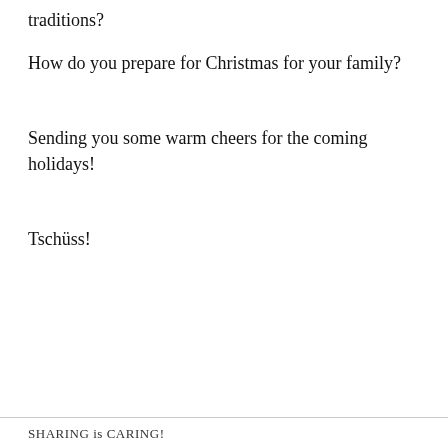traditions?
How do you prepare for Christmas for your family?
Sending you some warm cheers for the coming holidays!
Tschüss!
SHARING is CARING!